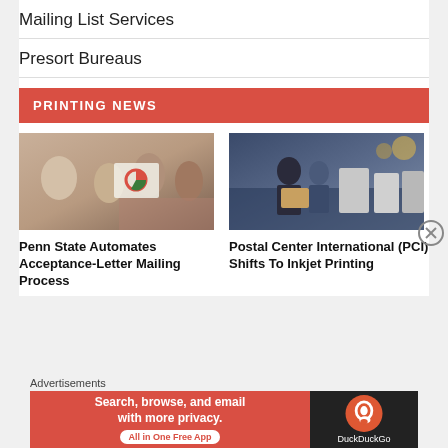Mailing List Services
Presort Bureaus
PRINTING NEWS
[Figure (photo): People in a print shop looking at printed materials with pie charts]
Penn State Automates Acceptance-Letter Mailing Process
[Figure (photo): Workers in a printing facility carrying boxes near large printers]
Postal Center International (PCI) Shifts To Inkjet Printing
Advertisements
[Figure (other): DuckDuckGo advertisement banner: Search, browse, and email with more privacy. All in One Free App]